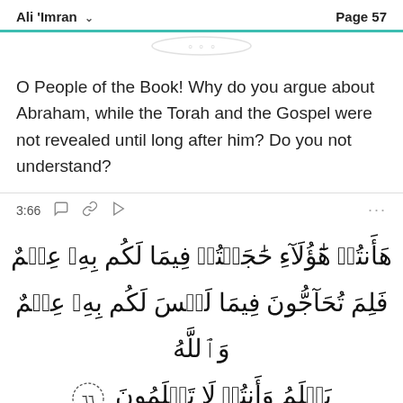Ali 'Imran   Page 57
O People of the Book! Why do you argue about Abraham, while the Torah and the Gospel were not revealed until long after him? Do you not understand?
3:66
هَأَنتُمْ هَٰؤُلَاءِ حَٰجَجْتُمْ فِيمَا لَكُم بِهِۦ عِلْمٌ فَلِمَ تُحَآجُّونَ فِيمَا لَيْسَ لَكُم بِهِۦ عِلْمٌ وَٱللَّهُ يَعْلَمُ وَأَنتُمْ لَا تَعْلَمُونَ ٦٦